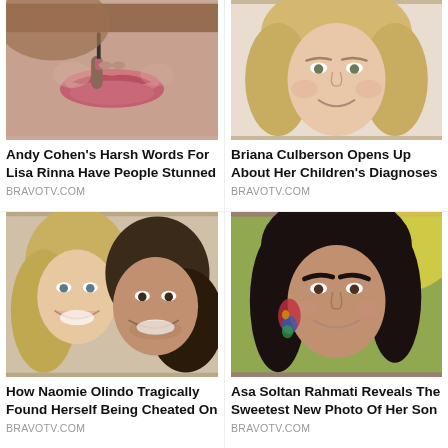[Figure (photo): Close-up of a woman applying lip gloss/lipstick with a brush]
Andy Cohen's Harsh Words For Lisa Rinna Have People Stunned
BRAVOTV.COM
[Figure (photo): Smiling blonde woman, selfie style, outdoor/bright background]
Briana Culberson Opens Up About Her Children's Diagnoses
BRAVOTV.COM
[Figure (photo): Couple smiling together — blonde woman and dark-haired man]
How Naomie Olindo Tragically Found Herself Being Cheated On
BRAVOTV.COM
[Figure (photo): Woman with dark hair and colorful statement earrings, smiling, outdoor background]
Asa Soltan Rahmati Reveals The Sweetest New Photo Of Her Son
BRAVOTV.COM